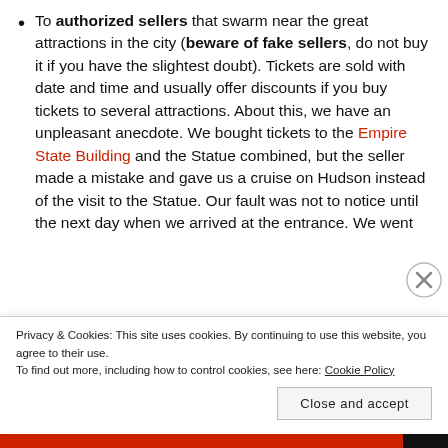To authorized sellers that swarm near the great attractions in the city (beware of fake sellers, do not buy it if you have the slightest doubt). Tickets are sold with date and time and usually offer discounts if you buy tickets to several attractions. About this, we have an unpleasant anecdote. We bought tickets to the Empire State Building and the Statue combined, but the seller made a mistake and gave us a cruise on Hudson instead of the visit to the Statue. Our fault was not to notice until the next day when we arrived at the entrance. We went
Privacy & Cookies: This site uses cookies. By continuing to use this website, you agree to their use. To find out more, including how to control cookies, see here: Cookie Policy
Close and accept